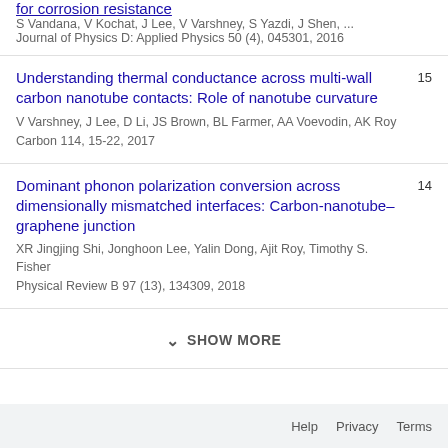for corrosion resistance
S Vandana, V Kochat, J Lee, V Varshney, S Yazdi, J Shen, ...
Journal of Physics D: Applied Physics 50 (4), 045301, 2016
Understanding thermal conductance across multi-wall carbon nanotube contacts: Role of nanotube curvature
V Varshney, J Lee, D Li, JS Brown, BL Farmer, AA Voevodin, AK Roy
Carbon 114, 15-22, 2017
15
Dominant phonon polarization conversion across dimensionally mismatched interfaces: Carbon-nanotube–graphene junction
XR Jingjing Shi, Jonghoon Lee, Yalin Dong, Ajit Roy, Timothy S. Fisher
Physical Review B 97 (13), 134309, 2018
14
SHOW MORE
Help   Privacy   Terms